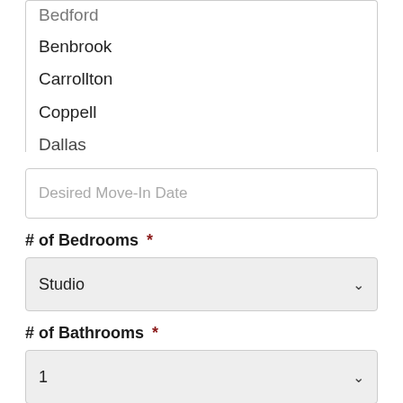Bedford
Benbrook
Carrollton
Coppell
Dallas
Desired Move-In Date
# of Bedrooms *
Studio
# of Bathrooms *
1
Max Price *